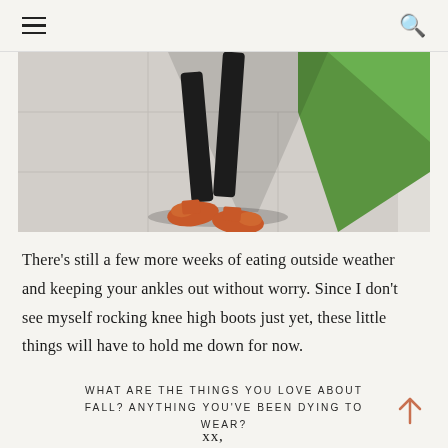≡  🔍
[Figure (photo): Close-up photo of a person's legs and feet walking on a sidewalk, wearing dark trousers and orange/floral heeled mules. Green grass is visible in the upper right corner.]
There's still a few more weeks of eating outside weather and keeping your ankles out without worry. Since I don't see myself rocking knee high boots just yet, these little things will have to hold me down for now.
WHAT ARE THE THINGS YOU LOVE ABOUT FALL? ANYTHING YOU'VE BEEN DYING TO WEAR?
xx,